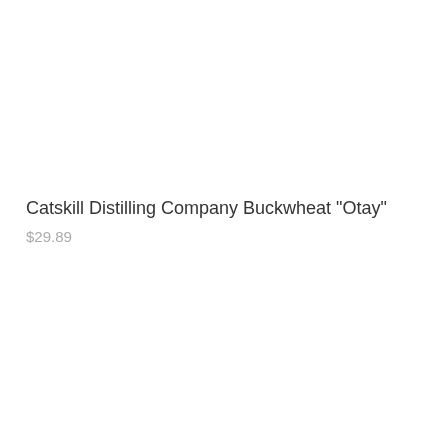Catskill Distilling Company Buckwheat "Otay"
$29.89